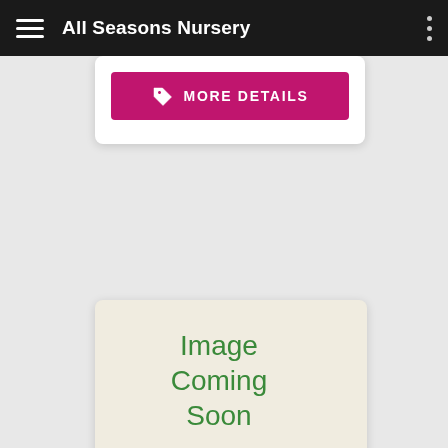All Seasons Nursery
[Figure (screenshot): Pink 'MORE DETAILS' button with a price tag icon]
[Figure (illustration): Placeholder card with beige background and green text reading 'Image Coming Soon']